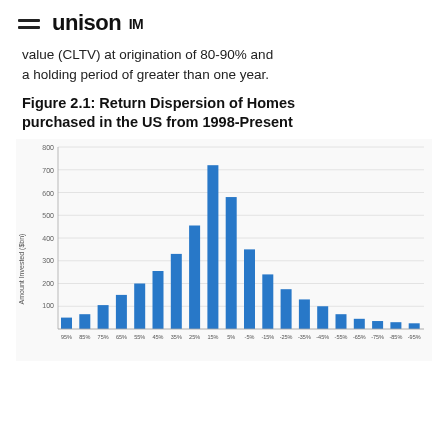unison IM
value (CLTV) at origination of 80-90% and a holding period of greater than one year.
Figure 2.1: Return Dispersion of Homes purchased in the US from 1998-Present
[Figure (bar-chart): Figure 2.1: Return Dispersion of Homes purchased in the US from 1998-Present]